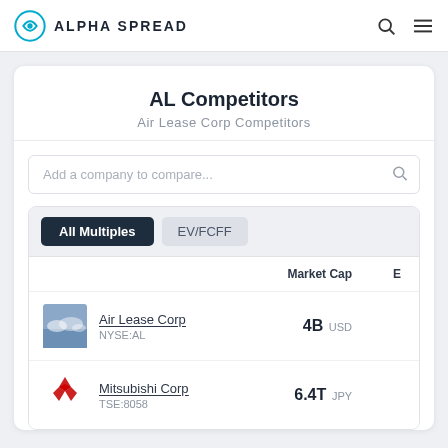ALPHA SPREAD
AL Competitors
Air Lease Corp Competitors
Add a company to compare...
|  | Market Cap | E |
| --- | --- | --- |
| Air Lease Corp NYSE:AL | 4B USD |  |
| Mitsubishi Corp TSE:8058 | 6.4T JPY |  |